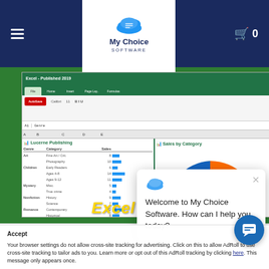My Choice Software — navigation bar with hamburger menu, logo, cart (0)
[Figure (screenshot): Microsoft Excel spreadsheet showing 'Lucerne Publishing' data table with Genre, Category, Sales columns and horizontal bar chart, alongside a 'Sales by Category' half-donut chart with colored segments (blue, orange, gold, teal, gray)]
Excel 2019
Welcome to My Choice Software. How can I help you today?
Your browser settings do not allow cross-site tracking for advertising. Click on this to allow AdRoll to use cross-site tracking to tailor ads to you. Learn more or opt out of this AdRoll tracking by clicking here. This message only appears once.